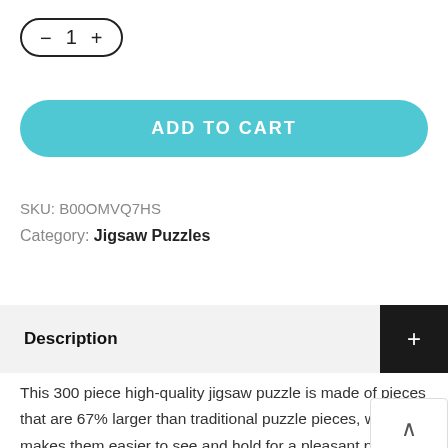[Figure (other): Quantity selector with minus button, number 1, and plus button in a pill/rounded border]
[Figure (other): ADD TO CART teal/cyan rounded button]
SKU: B00OMVQ7HS
Category: Jigsaw Puzzles
Description
This 300 piece high-quality jigsaw puzzle is made of pieces that are 67% larger than traditional puzzle pieces, wh makes them easier to see and hold for a pleasant puzzle experience. Every Buffalo Games jigsaw puzzle is manufactured in the U.S.A. from recycled puzzle board. A